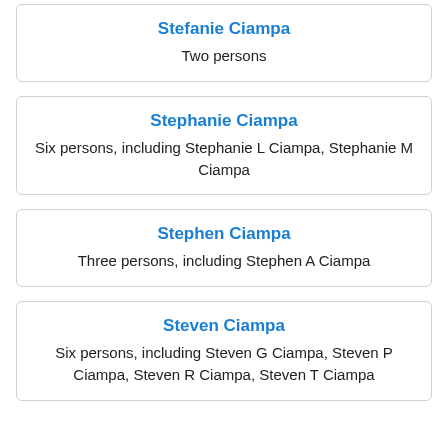Stefanie Ciampa
Two persons
Stephanie Ciampa
Six persons, including Stephanie L Ciampa, Stephanie M Ciampa
Stephen Ciampa
Three persons, including Stephen A Ciampa
Steven Ciampa
Six persons, including Steven G Ciampa, Steven P Ciampa, Steven R Ciampa, Steven T Ciampa